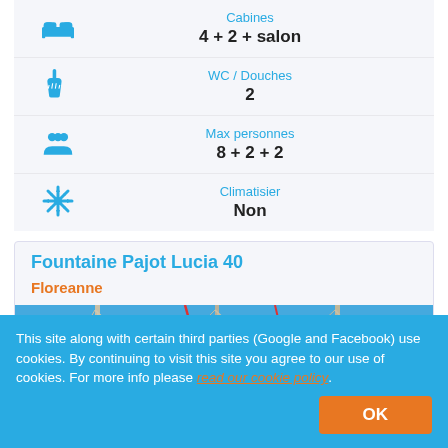| Icon | Label | Value |
| --- | --- | --- |
| bed icon | Cabines | 4 + 2 + salon |
| shower icon | WC / Douches | 2 |
| people icon | Max personnes | 8 + 2 + 2 |
| snowflake icon | Climatisier | Non |
Fountaine Pajot Lucia 40
Floreanne
[Figure (photo): Sailboat masts against a blue sky]
This site along with certain third parties (Google and Facebook) use cookies. By continuing to visit this site you agree to our use of cookies. For more info please read our cookie policy.